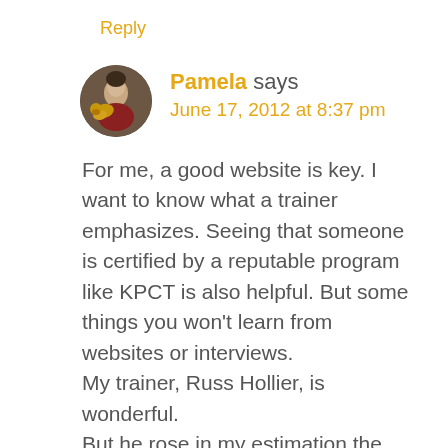Reply
[Figure (photo): Circular avatar photo of a person with a golden dog]
Pamela says
June 17, 2012 at 8:37 pm
For me, a good website is key. I want to know what a trainer emphasizes. Seeing that someone is certified by a reputable program like KPCT is also helpful. But some things you won't learn from websites or interviews.
My trainer, Russ Hollier, is wonderful. But he rose in my estimation the other day when he said something about how